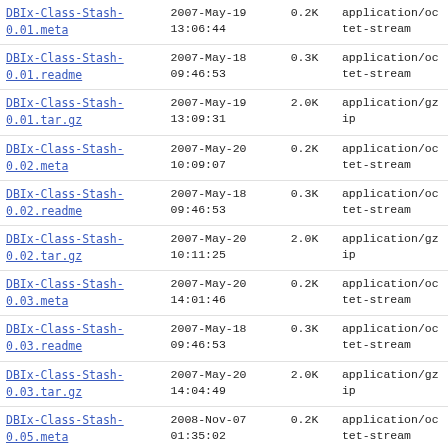| DBIx-Class-Stash-0.01.meta | 2007-May-19
13:06:44 | 0.2K | application/octet-stream |
| DBIx-Class-Stash-0.01.readme | 2007-May-18
09:46:53 | 0.3K | application/octet-stream |
| DBIx-Class-Stash-0.01.tar.gz | 2007-May-19
13:09:31 | 2.0K | application/gzip |
| DBIx-Class-Stash-0.02.meta | 2007-May-20
10:09:07 | 0.2K | application/octet-stream |
| DBIx-Class-Stash-0.02.readme | 2007-May-18
09:46:53 | 0.3K | application/octet-stream |
| DBIx-Class-Stash-0.02.tar.gz | 2007-May-20
10:11:25 | 2.0K | application/gzip |
| DBIx-Class-Stash-0.03.meta | 2007-May-20
14:01:46 | 0.2K | application/octet-stream |
| DBIx-Class-Stash-0.03.readme | 2007-May-18
09:46:53 | 0.3K | application/octet-stream |
| DBIx-Class-Stash-0.03.tar.gz | 2007-May-20
14:04:49 | 2.0K | application/gzip |
| DBIx-Class-Stash-0.05.meta | 2008-Nov-07
01:35:02 | 0.2K | application/octet-stream |
| DBIx-Class-Stash-0.05.readme | 2008-Nov-07 | 0.3K | application/octet-stream |